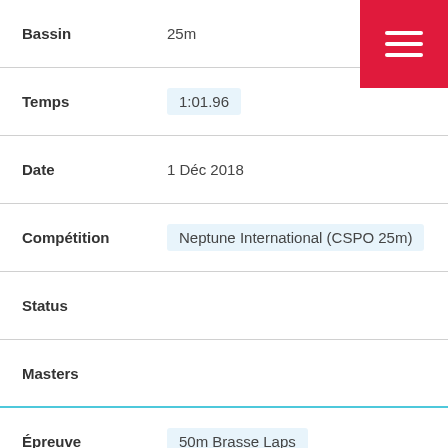Bassin: 25m
Temps: 1:01.96
Date: 1 Déc 2018
Compétition: Neptune International (CSPO 25m)
Status:
Masters
Épreuve: 50m Brasse Laps
Bassin: 25m
Temps: 30.17